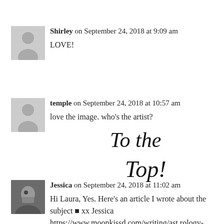Shirley on September 24, 2018 at 9:09 am
LOVE!
temple on September 24, 2018 at 10:57 am
love the image. who's the artist?
[Figure (illustration): Handwritten cursive text reading 'To the Top!']
Jessica on September 24, 2018 at 11:02 am
Hi Laura, Yes. Here's an article I wrote about the subject ■ xx Jessica https://www.moonkissd.com/writing/astrology-daily-life/travel-by-the-stars/